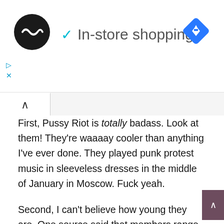[Figure (logo): Black circular logo with infinity-like double arrow symbol, in-store shopping label with cyan checkmark, blue navigation diamond icon on right]
First, Pussy Riot is totally badass. Look at them! They're waaaay cooler than anything I've ever done. They played punk protest music in sleeveless dresses in the middle of January in Moscow. Fuck yeah.
Second, I can't believe how young they are. One source said that members range from 20–33 years old. The women interviewed in that video are young, and they're standing up to an oppressive system to try to effect change. Fuck yeah again.
Third, I believe free expression is the cornerstone of a free society. I don't just say that because I'm in America where